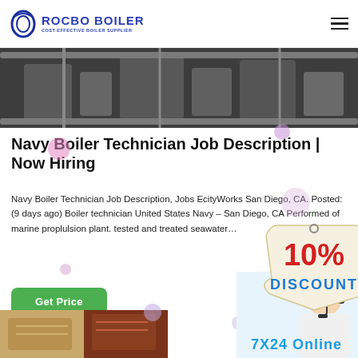ROCBO BOILER — COST-EFFECTIVE BOILER SUPPLIER
[Figure (photo): Industrial boiler room machinery and pipes viewed from an interior corridor]
Navy Boiler Technician Job Description | Now Hiring
Navy Boiler Technician Job Description, Jobs EcityWorks San Diego, CA. Posted: (9 days ago) Boiler technician United States Navy – San Diego, CA Performed of marine proplulsion plant. tested and treated seawater...
[Figure (infographic): 10% DISCOUNT promotional badge in red and blue text on a torn-paper style label]
[Figure (photo): Customer service representative woman wearing headset, smiling]
[Figure (photo): Bottom thumbnail images showing boiler room interior]
7X24 Online